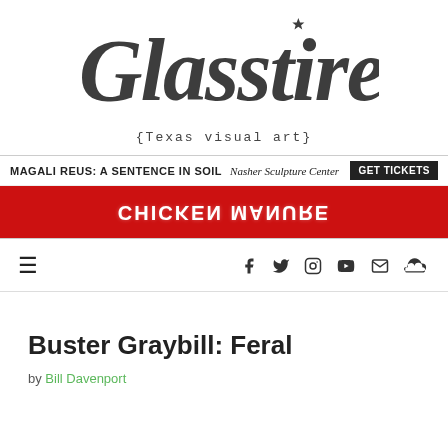[Figure (logo): Glasstire logo in dark gray script lettering with tagline {Texas visual art} in monospace below]
[Figure (infographic): Advertisement banner for Magali Reus: A Sentence in Soil at Nasher Sculpture Center with GET TICKETS button, and red strip showing inverted Chicken Manure text]
[Figure (infographic): Navigation bar with hamburger menu on left and social media icons (Facebook, Twitter, Instagram, YouTube, email, SoundCloud) on right]
Buster Graybill: Feral
by Bill Davenport